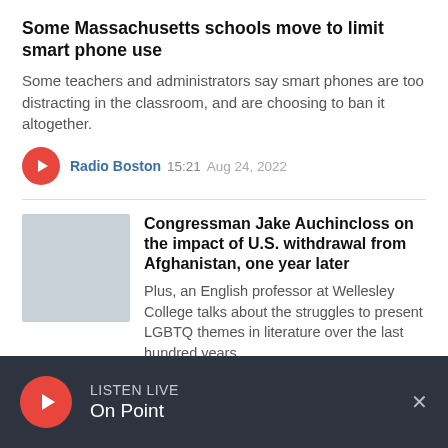Some Massachusetts schools move to limit smart phone use
Some teachers and administrators say smart phones are too distracting in the classroom, and are choosing to ban it altogether.
Radio Boston  15:21  Aug 24, 2022
Congressman Jake Auchincloss on the impact of U.S. withdrawal from Afghanistan, one year later
Plus, an English professor at Wellesley College talks about the struggles to present LGBTQ themes in literature over the last hundred years.
LISTEN LIVE  On Point